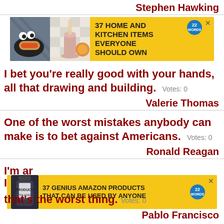Stephen Hawking
[Figure (infographic): Advertisement banner: yellow background with food/kitchen photos on left, text '37 HOME AND KITCHEN ITEMS EVERYONE SHOULD OWN' in bold black, blue circular badge with '22 WORDS', X close button]
I bet you're really good with your hands, all that drawing and building.  Votes: 0
Valerie Thomas
One of the worst mistakes anybody can make is to bet against Americans.  Votes: 0
Ronald Reagan
[Figure (infographic): Advertisement banner: yellow background with dark bottle image on left, text '37 GENIUS AMAZON PRODUCTS THAT CAN BE USED BY ANYONE' in bold black, blue circular badge with '22 WORDS', X close button]
I'm ar...nble; that's the worst thing.  Votes: 0
Pablo Francisco